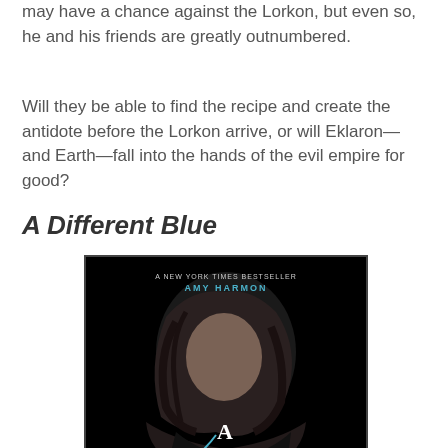may have a chance against the Lorkon, but even so, he and his friends are greatly outnumbered.
Will they be able to find the recipe and create the antidote before the Lorkon arrive, or will Eklaron—and Earth—fall into the hands of the evil empire for good?
A Different Blue
[Figure (photo): Book cover of 'A Different Blue' by Amy Harmon, a New York Times Bestseller. Dark cover with a young woman with long dark hair looking down, text reading 'A DIFFERENT' at the bottom.]